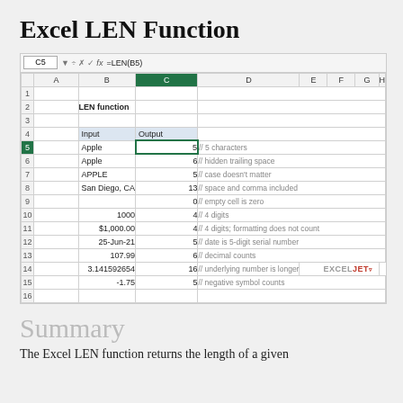Excel LEN Function
[Figure (screenshot): Excel spreadsheet showing the LEN function usage. Cell C5 is selected with formula =LEN(B5). The spreadsheet has columns A-H and rows 1-16. Row 2 has 'LEN function' label in column B. Row 4 header row shows 'Input' and 'Output'. Rows 5-15 show various inputs (Apple, Apple with trailing space, APPLE, San Diego CA, empty, 1000, $1,000.00, 25-Jun-21, 107.99, 3.141592654, -1.75) and their LEN outputs (5,6,5,13,0,4,4,5,6,16,5) with comments explaining each result.]
Summary
The Excel LEN function returns the length of a given